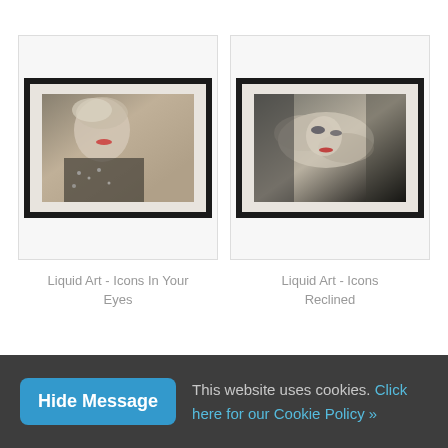[Figure (photo): Framed artwork showing a Marilyn Monroe photograph in black and white with color accents, black frame with white mat]
Liquid Art - Icons In Your Eyes
[Figure (photo): Framed artwork showing a reclined Marilyn Monroe photograph in black and white with color accents, black frame with white mat]
Liquid Art - Icons Reclined
This website uses cookies. Click here for our Cookie Policy »